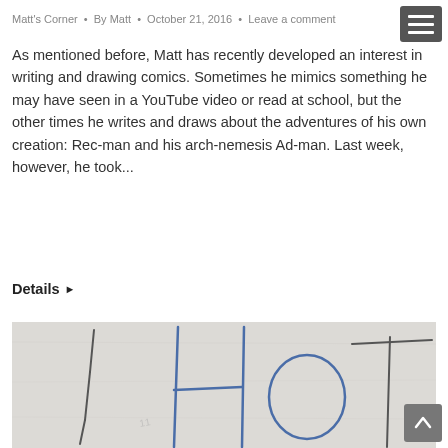Matt's Corner • By Matt • October 21, 2016 • Leave a comment
As mentioned before, Matt has recently developed an interest in writing and drawing comics. Sometimes he mimics something he may have seen in a YouTube video or read at school, but the other times he writes and draws about the adventures of his own creation: Rec-man and his arch-nemesis Ad-man. Last week, however, he took...
Details ►
[Figure (photo): A child's hand-drawn letters 'HOT' in pencil/pen on white paper]